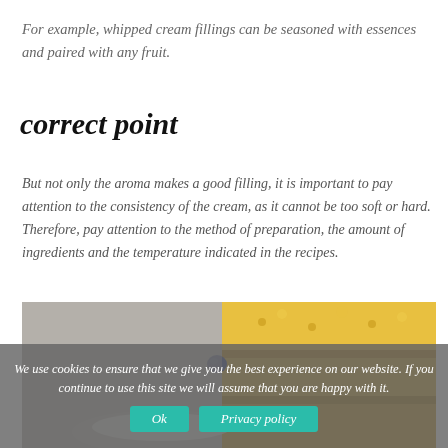For example, whipped cream fillings can be seasoned with essences and paired with any fruit.
correct point
But not only the aroma makes a good filling, it is important to pay attention to the consistency of the cream, as it cannot be too soft or hard. Therefore, pay attention to the method of preparation, the amount of ingredients and the temperature indicated in the recipes.
[Figure (photo): Photo of layered pastry/cake with yellow sponge layers and a blueberry on top, on a plate, partially visible]
We use cookies to ensure that we give you the best experience on our website. If you continue to use this site we will assume that you are happy with it.